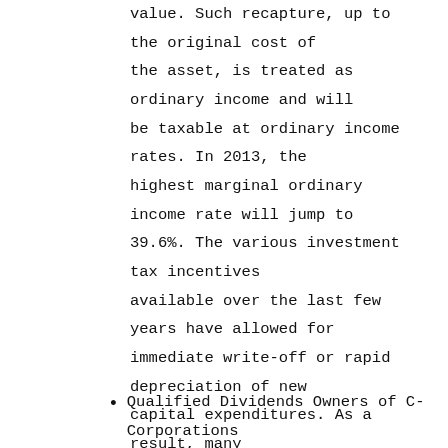value. Such recapture, up to the original cost of the asset, is treated as ordinary income and will be taxable at ordinary income rates. In 2013, the highest marginal ordinary income rate will jump to 39.6%. The various investment tax incentives available over the last few years have allowed for immediate write-off or rapid depreciation of new capital expenditures. As a result, many companies now have a large gap between the tax basis and current fair market value of fixed assets, thereby exacerbating the effect of the increase in ordinary income tax rates.
Qualified Dividends Owners of C-Corporations currently pay tax at a rate of 15% on dividends. In